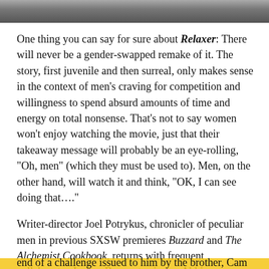[Figure (photo): A partial photo strip at the top of the page, showing a cropped image in grayscale/muted tones.]
One thing you can say for sure about Relaxer: There will never be a gender-swapped remake of it. The story, first juvenile and then surreal, only makes sense in the context of men’s craving for competition and willingness to spend absurd amounts of time and energy on total nonsense. That’s not to say women won’t enjoy watching the movie, just that their takeaway message will probably be an eye-rolling, “Oh, men” (which they must be used to). Men, on the other hand, will watch it and think, “OK, I can see doing that….”
Writer-director Joel Potrykus, chronicler of peculiar men in previous SXSW premieres Buzzard and The Alchemist Cookbook, returns with frequent collaborator Joshua Burge starring as Abbie, a layabout living on his brother’s couch in the summer of 1999. When we enter the picture, Abbie is near the end of a challenge issued to him by the brother, Cam